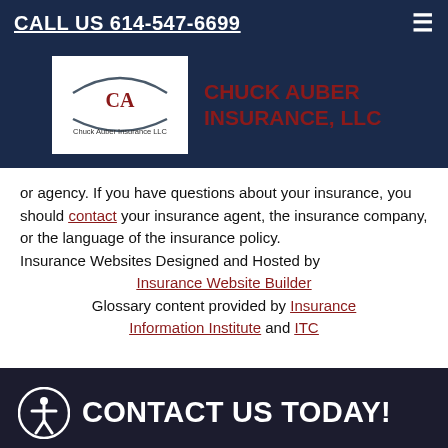CALL US 614-547-6699
[Figure (logo): Chuck Auber Insurance LLC logo with CA initials and arc design]
CHUCK AUBER INSURANCE, LLC
or agency. If you have questions about your insurance, you should contact your insurance agent, the insurance company, or the language of the insurance policy. Insurance Websites Designed and Hosted by Insurance Website Builder Glossary content provided by Insurance Information Institute and ITC
CONTACT US TODAY!